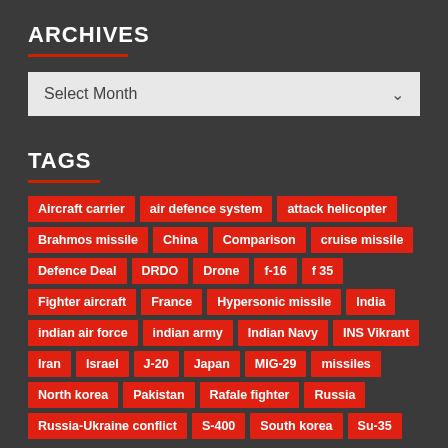ARCHIVES
Select Month
TAGS
Aircraft carrier
air defence system
attack helicopter
Brahmos missile
China
Comparison
cruise missile
Defence Deal
DRDO
Drone
f-16
f 35
Fighter aircraft
France
Hypersonic missile
India
indian air force
indian army
Indian Navy
INS Vikrant
Iran
Israel
J-20
Japan
MIG-29
missiles
North korea
Pakistan
Rafale fighter
Russia
Russia-Ukraine conflict
S-400
South korea
Su-35